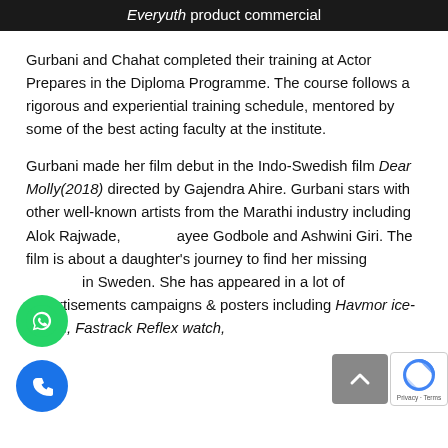Everyuth product commercial
Gurbani and Chahat completed their training at Actor Prepares in the Diploma Programme. The course follows a rigorous and experiential training schedule, mentored by some of the best acting faculty at the institute.
Gurbani made her film debut in the Indo-Swedish film Dear Molly(2018) directed by Gajendra Ahire. Gurbani stars with other well-known artists from the Marathi industry including Alok Rajwade, [Shr]ayee Godbole and Ashwini Giri. The film is about a daughter's journey to find her missing [father] in Sweden. She has appeared in a lot of advertisements campaigns & posters including Havmor ice-cream, Fastrack Reflex watch,